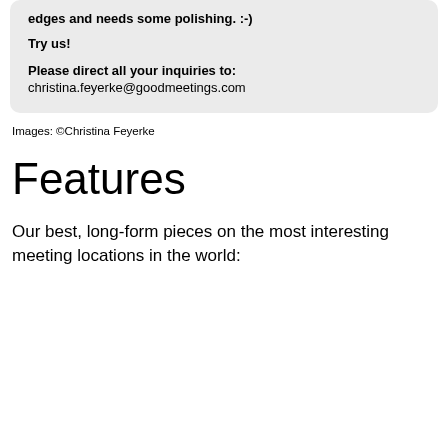edges and needs some polishing. :-)
Try us!
Please direct all your inquiries to:
christina.feyerke@goodmeetings.com
Images: ©Christina Feyerke
Features
Our best, long-form pieces on the most interesting meeting locations in the world: